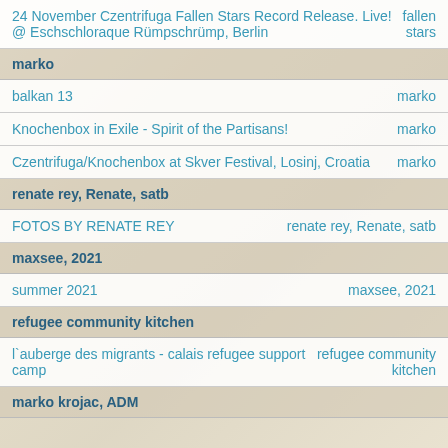| 24 November Czentrifuga Fallen Stars Record Release. Live! @ Eschschloraque Rümpschrümp, Berlin | fallen stars |
| balkan 13 | marko |
| Knochenbox in Exile - Spirit of the Partisans! | marko |
| Czentrifuga/Knochenbox at Skver Festival, Losinj, Croatia | marko |
marko
renate rey, Renate, satb
| FOTOS BY RENATE REY | renate rey, Renate, satb |
maxsee, 2021
| summer 2021 | maxsee, 2021 |
refugee community kitchen
| l`auberge des migrants - calais refugee support camp | refugee community kitchen |
marko krojac, ADM